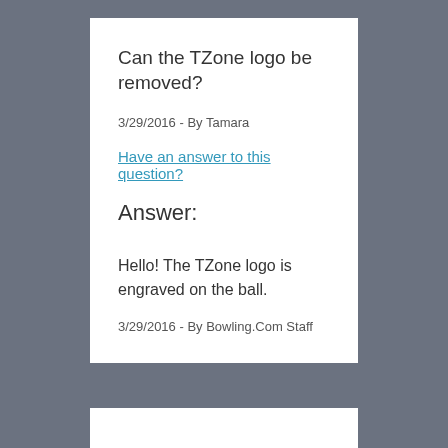Can the TZone logo be removed?
3/29/2016 - By Tamara
Have an answer to this question?
Answer:
Hello! The TZone logo is engraved on the ball.
3/29/2016 - By Bowling.Com Staff